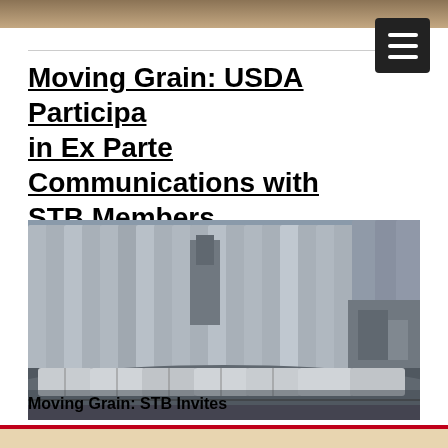Moving Grain: USDA Participation in Ex Parte Communications with STB Members
[Figure (photo): A freight train with grain hopper cars curving along a track in front of a large row of concrete grain elevator silos.]
Moving Grain: STB Invites